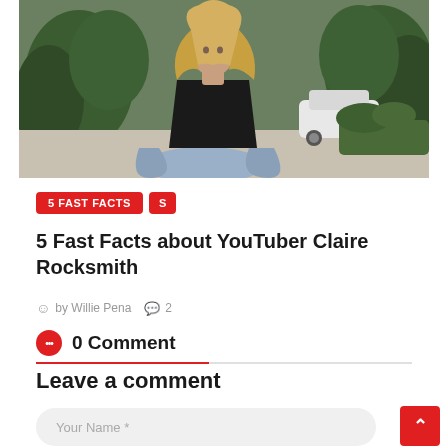[Figure (photo): Young blonde woman sitting cross-legged on a driveway, wearing a black top and light blue jeans, with green trees and a white car in the background]
5 FAST FACTS   S
5 Fast Facts about YouTuber Claire Rocksmith
by Willie Pena   2
0 Comment
Leave a comment
Your Name *